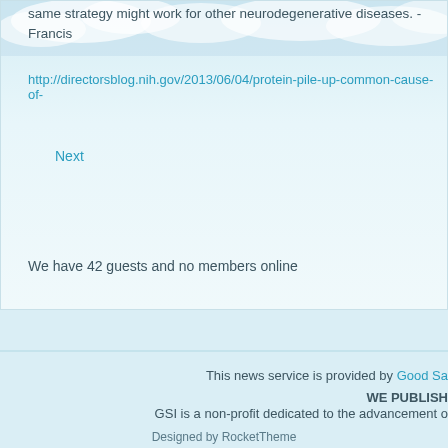same strategy might work for other neurodegenerative diseases. -Francis
http://directorsblog.nih.gov/2013/06/04/protein-pile-up-common-cause-of-
Next
We have 42 guests and no members online
This news service is provided by Good Sa
WE PUBLISH
GSI is a non-profit dedicated to the advancement o
Designed by RocketTheme